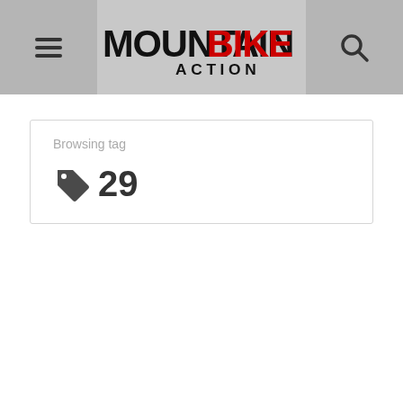[Figure (logo): Mountain Bike Action logo with bold black and red lettering on gray header bar]
Browsing tag
29